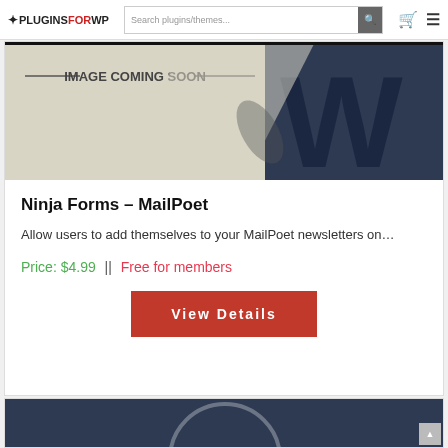PLUGINSFORWP — Search plugins/themes...
[Figure (screenshot): Product image placeholder showing 'IMAGE COMING SOON' text on left and WordPress logo graphic on right]
Ninja Forms – MailPoet
Allow users to add themselves to your MailPoet newsletters on…
Price: $4.99 || Free for members
View Details